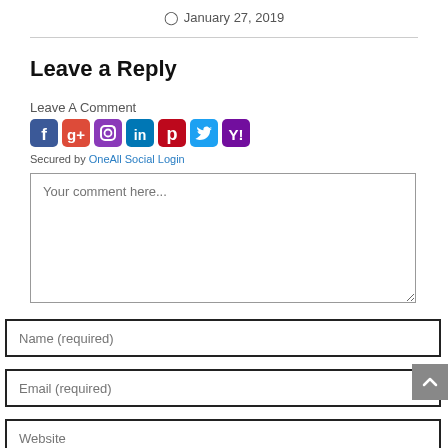January 27, 2019
Leave a Reply
Leave A Comment
[Figure (other): Social login icons: Facebook, Google+, Instagram, LinkedIn, Pinterest, Twitter, Yahoo]
Secured by OneAll Social Login
Your comment here...
Name (required)
Email (required)
Website